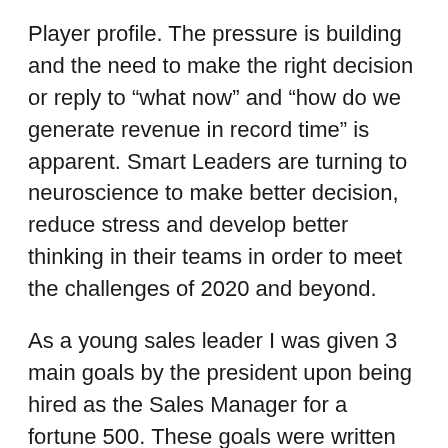Player profile.  The pressure is building and the need to make the right decision or reply to “what now” and “how do we generate revenue in record time” is apparent.  Smart Leaders are turning to neuroscience to make better decision, reduce stress and develop better thinking in their teams in order to meet the challenges of 2020 and beyond.
As a young sales leader I was given 3 main goals by the president upon being hired as the Sales Manager for a fortune 500.  These goals were written on the corner of a torn piece of paper.  They were then, and still are, the top goals for sales leaders who are given the monumental task to increase revenue.
1. Grow new business